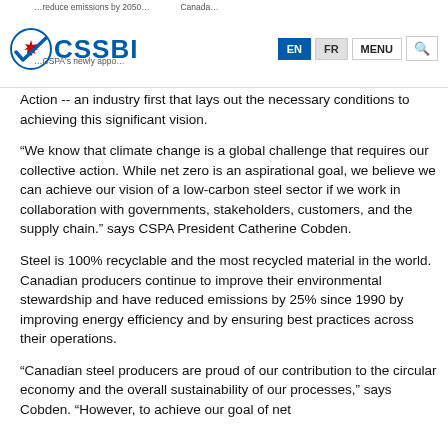CSSBI – Canadian Steel Buildings Institute navigation header with EN/FR/MENU/Search controls
Action -- an industry first that lays out the necessary conditions to achieving this significant vision.
“We know that climate change is a global challenge that requires our collective action. While net zero is an aspirational goal, we believe we can achieve our vision of a low-carbon steel sector if we work in collaboration with governments, stakeholders, customers, and the supply chain.” says CSPA President Catherine Cobden.
Steel is 100% recyclable and the most recycled material in the world. Canadian producers continue to improve their environmental stewardship and have reduced emissions by 25% since 1990 by improving energy efficiency and by ensuring best practices across their operations.
“Canadian steel producers are proud of our contribution to the circular economy and the overall sustainability of our processes,” says Cobden. “However, to achieve our goal of net